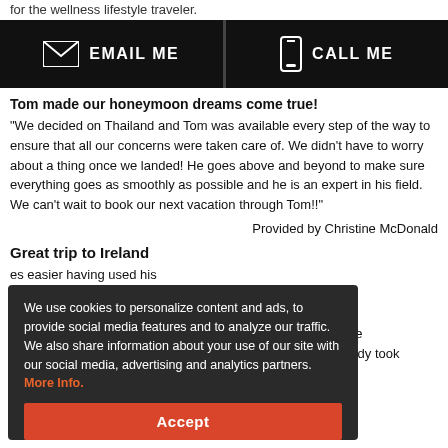for the wellness lifestyle traveler.
[Figure (infographic): Black bar with EMAIL ME button on left and CALL ME button on right with envelope and phone icons]
Tom made our honeymoon dreams come true!
"We decided on Thailand and Tom was available every step of the way to ensure that all our concerns were taken care of. We didn't have to worry about a thing once we landed! He goes above and beyond to make sure everything goes as smoothly as possible and he is an expert in his field. We can't wait to book our next vacation through Tom!!"
Provided by Christine McDonald
Great trip to Ireland
...es easier having used his ...nd. Hotels were ...ar rental was extremely smooth, no issues...k up, or drop off...e were able to relax the whole time and just enjoy our vacation knowing that he already took
We use cookies to personalize content and ads, to provide social media features and to analyze our traffic. We also share information about your use of our site with our social media, advertising and analytics partners. More Info.
Accept